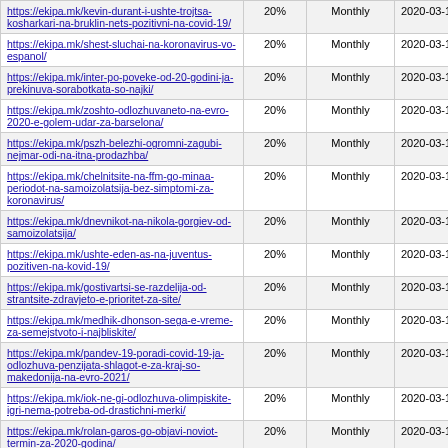| URL | % | Frequency | Last Modified |
| --- | --- | --- | --- |
| https://ekipa.mk/kevin-durant-i-ushte-trojtsa-kosharkari-na-bruklin-nets-pozitivni-na-covid-19/ | 20% | Monthly | 2020-03-17 21:43 |
| https://ekipa.mk/shest-sluchai-na-koronavirus-vo-espanol/ | 20% | Monthly | 2020-03-17 21:34 |
| https://ekipa.mk/inter-po-poveke-od-20-godini-ja-prekinuva-sorabotkata-so-najki/ | 20% | Monthly | 2020-03-17 18:25 |
| https://ekipa.mk/zoshto-odlozhuvaneto-na-evro-2020-e-golem-udar-za-barselona/ | 20% | Monthly | 2020-03-17 20:10 |
| https://ekipa.mk/pszh-belezhi-ogromni-zagubi-nejmar-odi-na-itna-prodazhba/ | 20% | Monthly | 2020-03-17 19:59 |
| https://ekipa.mk/chelnitsite-na-ffm-go-minaa-periodot-na-samoizolatsija-bez-simptomi-za-koronavirus/ | 20% | Monthly | 2020-03-17 19:21 |
| https://ekipa.mk/dnevnikot-na-nikola-gorgiev-od-samoizolatsija/ | 20% | Monthly | 2020-03-17 18:59 |
| https://ekipa.mk/ushte-eden-as-na-juventus-pozitiven-na-kovid-19/ | 20% | Monthly | 2020-03-17 18:32 |
| https://ekipa.mk/gostivartsi-se-razdelija-od-strantsite-zdravjeto-e-prioritet-za-site/ | 20% | Monthly | 2020-03-17 18:19 |
| https://ekipa.mk/medhik-dhonson-sega-e-vreme-za-semejstvoto-i-najbliskite/ | 20% | Monthly | 2020-03-17 17:02 |
| https://ekipa.mk/pandev-19-poradi-covid-19-ja-odlozhuva-penzijata-shlagot-e-za-kraj-so-makedonija-na-evro-2021/ | 20% | Monthly | 2020-03-17 17:01 |
| https://ekipa.mk/iok-ne-gi-odlozhuva-olimpiskite-igri-nema-potreba-od-drastichni-merki/ | 20% | Monthly | 2020-03-17 16:58 |
| https://ekipa.mk/rolan-garos-go-objavi-noviot-termin-za-2020-godina/ | 20% | Monthly | 2020-03-17 16:11 |
| https://ekipa.mk/strantsite-pochnaa-da-begaat-od-mak-basketot/ | 20% | Monthly | 2020-03-17 16:11 |